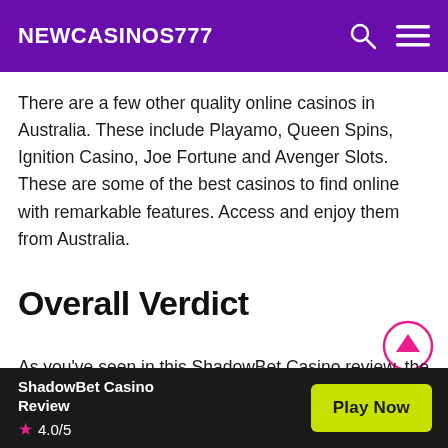NEWCASINOS777
There are a few other quality online casinos in Australia. These include Playamo, Queen Spins, Ignition Casino, Joe Fortune and Avenger Slots. These are some of the best casinos to find online with remarkable features. Access and enjoy them from Australia.
Overall Verdict
As you've seen in this ShadowBet Casino review, the platform hosts some of the most popular and newest
ShadowBet Casino Review ★ 4.0/5  Play Now